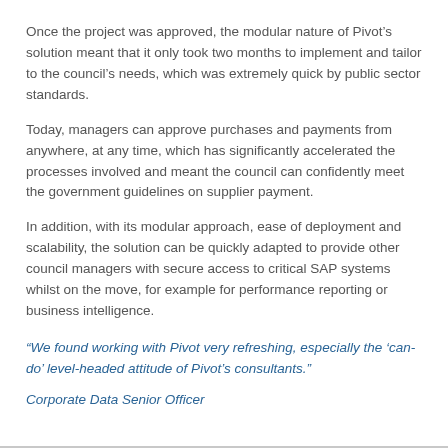Once the project was approved, the modular nature of Pivot’s solution meant that it only took two months to implement and tailor to the council’s needs, which was extremely quick by public sector standards.
Today, managers can approve purchases and payments from anywhere, at any time, which has significantly accelerated the processes involved and meant the council can confidently meet the government guidelines on supplier payment.
In addition, with its modular approach, ease of deployment and scalability, the solution can be quickly adapted to provide other council managers with secure access to critical SAP systems whilst on the move, for example for performance reporting or business intelligence.
“We found working with Pivot very refreshing, especially the ‘can-do’ level-headed attitude of Pivot’s consultants.”
Corporate Data Senior Officer